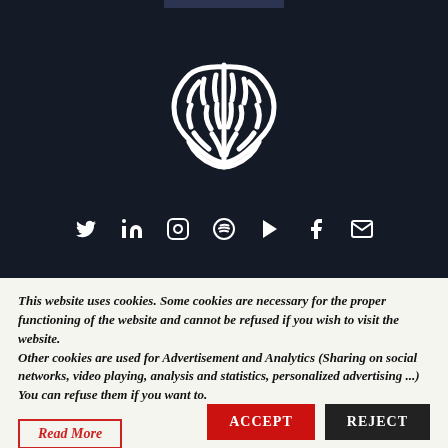[Figure (logo): White stylized brain icon logo on dark navy background]
[Figure (infographic): Social media icons row: Twitter, LinkedIn, Instagram, Spotify, YouTube, Facebook, Email — white icons on dark navy background]
This website uses cookies. Some cookies are necessary for the proper functioning of the website and cannot be refused if you wish to visit the website. Other cookies are used for Advertisement and Analytics (Sharing on social networks, video playing, analysis and statistics, personalized advertising ...) You can refuse them if you want to.
Read More
ACCEPT
REJECT